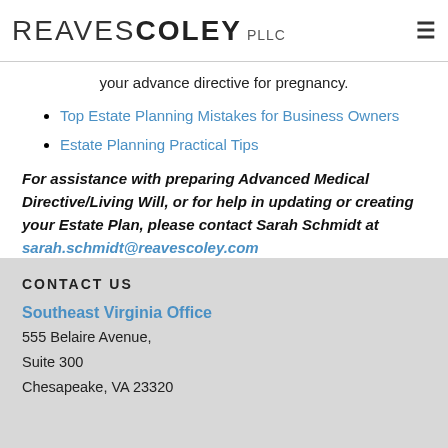REAVES COLEY PLLC
your advance directive for pregnancy.
Top Estate Planning Mistakes for Business Owners
Estate Planning Practical Tips
For assistance with preparing Advanced Medical Directive/Living Will, or for help in updating or creating your Estate Plan, please contact Sarah Schmidt at sarah.schmidt@reavescoley.com
CONTACT US
Southeast Virginia Office
555 Belaire Avenue,
Suite 300
Chesapeake, VA 23320